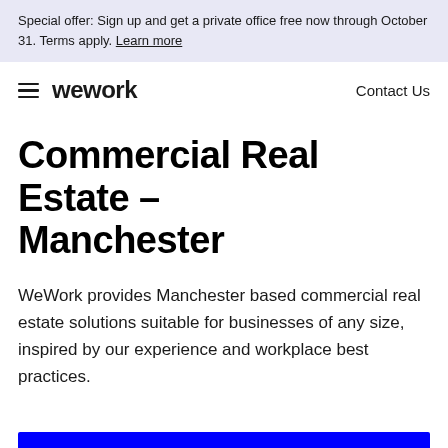Special offer: Sign up and get a private office free now through October 31. Terms apply. Learn more
weework   Contact Us
Commercial Real Estate – Manchester
WeWork provides Manchester based commercial real estate solutions suitable for businesses of any size, inspired by our experience and workplace best practices.